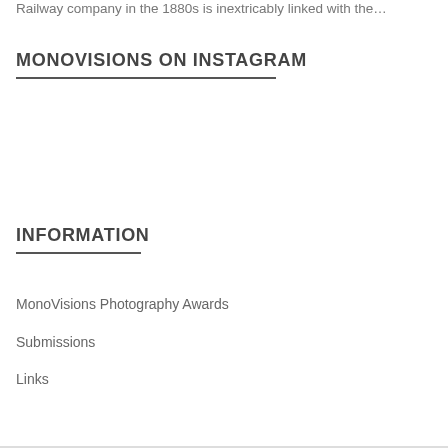Railway company in the 1880s is inextricably linked with the…
MONOVISIONS ON INSTAGRAM
INFORMATION
MonoVisions Photography Awards
Submissions
Links